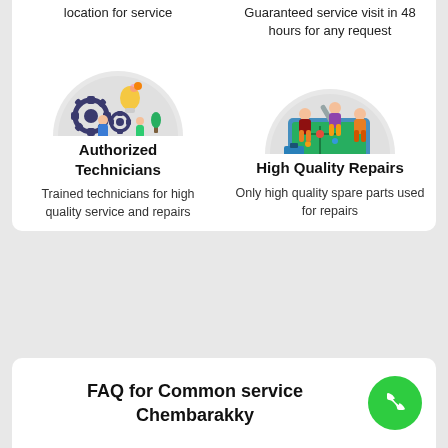location for service
Guaranteed service visit in 48 hours for any request
[Figure (illustration): Two workers with gears and a lightbulb, engineering/repair concept illustration]
[Figure (illustration): Workers repairing a large smartphone/circuit board, repair concept illustration]
Authorized Technicians
High Quality Repairs
Trained technicians for high quality service and repairs
Only high quality spare parts used for repairs
FAQ for Common service Chembarakky